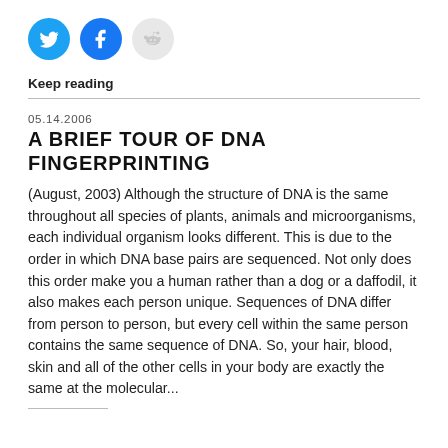[Figure (other): Social media sharing icons: Twitter (blue circle), Facebook (blue circle), Reddit (light gray circle)]
Keep reading
05.14.2006
A BRIEF TOUR OF DNA FINGERPRINTING
(August, 2003) Although the structure of DNA is the same throughout all species of plants, animals and microorganisms, each individual organism looks different. This is due to the order in which DNA base pairs are sequenced. Not only does this order make you a human rather than a dog or a daffodil, it also makes each person unique. Sequences of DNA differ from person to person, but every cell within the same person contains the same sequence of DNA. So, your hair, blood, skin and all of the other cells in your body are exactly the same at the molecular...